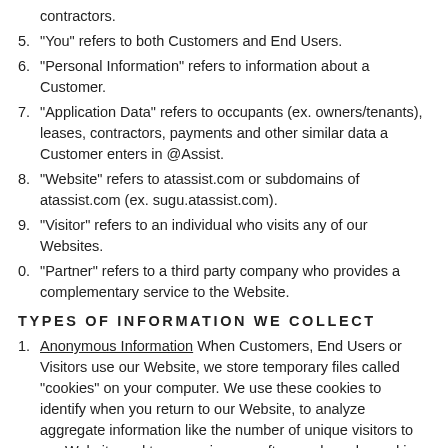contractors.
5. "You" refers to both Customers and End Users.
6. "Personal Information" refers to information about a Customer.
7. "Application Data" refers to occupants (ex. owners/tenants), leases, contractors, payments and other similar data a Customer enters in @Assist.
8. "Website" refers to atassist.com or subdomains of atassist.com (ex. sugu.atassist.com).
9. "Visitor" refers to an individual who visits any of our Websites.
0. "Partner" refers to a third party company who provides a complementary service to the Website.
TYPES OF INFORMATION WE COLLECT
1. Anonymous Information When Customers, End Users or Visitors use our Website, we store temporary files called "cookies" on your computer. We use these cookies to identify when you return to our Website, to analyze aggregate information like the number of unique visitors to our Website and to recognize you after you have logged in. We also use marketing and analytics services (our own as